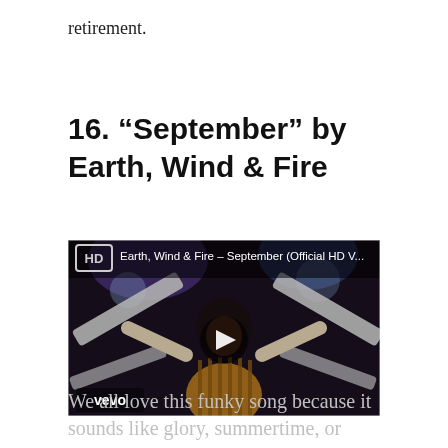retirement.
16. “September” by Earth, Wind & Fire
[Figure (screenshot): YouTube/Vevo video thumbnail showing Earth, Wind & Fire – September (Official HD V...) with a performer in a striped outfit on stage, play button overlay, HD badge, and Vevo logo]
We all love this funky song because it sounds like glory, summertime, or